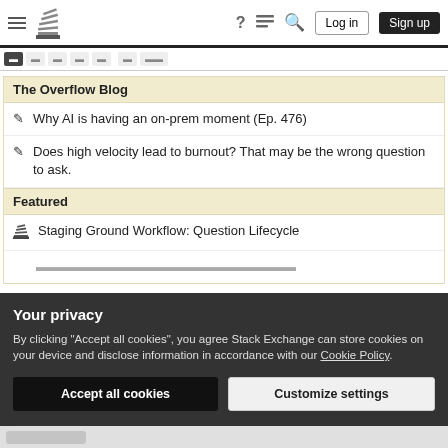Stack Overflow navigation bar with hamburger menu, logo, help, chat, search icons, Log in and Sign up buttons
The Overflow Blog
Why AI is having an on-prem moment (Ep. 476)
Does high velocity lead to burnout? That may be the wrong question to ask.
Featured
Staging Ground Workflow: Question Lifecycle
Your privacy
By clicking "Accept all cookies", you agree Stack Exchange can store cookies on your device and disclose information in accordance with our Cookie Policy.
Accept all cookies
Customize settings